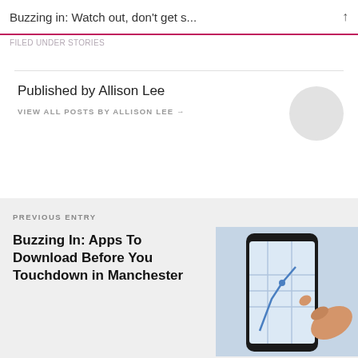Buzzing in: Watch out, don't get s...
Published by Allison Lee
VIEW ALL POSTS BY ALLISON LEE →
PREVIOUS ENTRY
Buzzing In: Apps To Download Before You Touchdown in Manchester
[Figure (photo): A hand holding a smartphone with a map/navigation app displayed on its screen]